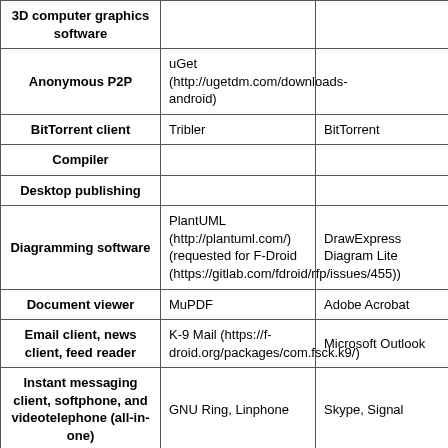| Category | Free/Open Source | Proprietary |
| --- | --- | --- |
| 3D computer graphics software |  |  |
| Anonymous P2P | uGet (http://ugetdm.com/downloads-android) |  |
| BitTorrent client | Tribler | BitTorrent |
| Compiler |  |  |
| Desktop publishing |  |  |
| Diagramming software | PlantUML (http://plantuml.com/) (requested for F-Droid (https://gitlab.com/fdroid/rfp/issues/455)) | DrawExpress Diagram Lite |
| Document viewer | MuPDF | Adobe Acrobat |
| Email client, news client, feed reader | K-9 Mail (https://f-droid.org/packages/com.fsck.k9/) | Microsoft Outlook |
| Instant messaging client, softphone, and videotelephone (all-in-one) | GNU Ring, Linphone | Skype, Signal |
| Instant messaging client | Telegram | Facebook Messenger, ICQ, Trillian, Yahoo! Messenger, Skype |